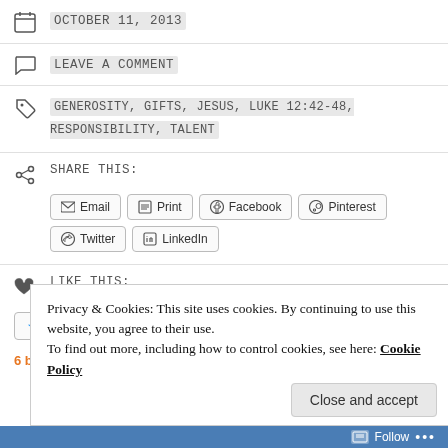OCTOBER 11, 2013
LEAVE A COMMENT
GENEROSITY, GIFTS, JESUS, LUKE 12:42-48, RESPONSIBILITY, TALENT
SHARE THIS:
Email Print Facebook Pinterest Twitter LinkedIn
LIKE THIS:
Like
6 bloggers like this.
Privacy & Cookies: This site uses cookies. By continuing to use this website, you agree to their use. To find out more, including how to control cookies, see here: Cookie Policy
Close and accept
Follow